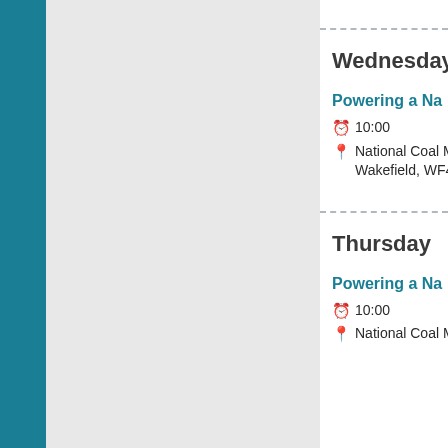Wednesday
Powering a Na...
10:00
National Coal M... Wakefield, WF4...
Thursday
Powering a Na...
10:00
National Coal M...